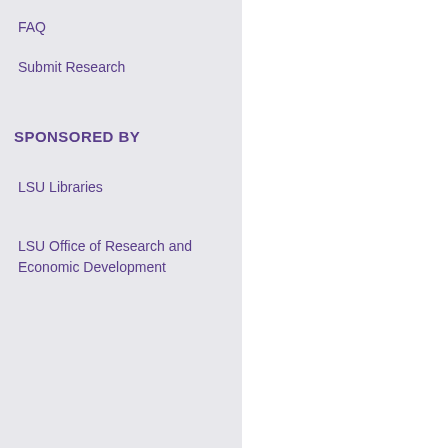FAQ
Submit Research
SPONSORED BY
LSU Libraries
LSU Office of Research and Economic Development
Jessica R. Eberhard, Louisia...
Gary R. Graves, Smithsonia... History
Juan J. Sanchez, Instituto N... Forenses
Sara Capelli, Loro Parque S...
Heinrich Müller, Loro Parqu...
Julia Scharpegge, Loro Par...
Geoffrey K. Chambers, Vict...
Robert C. Fleischer, New M...
Document Type
Article
Publication Date
10-1-2008
Abstract
The question of when modern... much debate among avian s... Tertiary diversification, whe... earlier diversification in the ... approach, the inference of hi... hypothesis that the initial ra... cockatoos) originated on the...